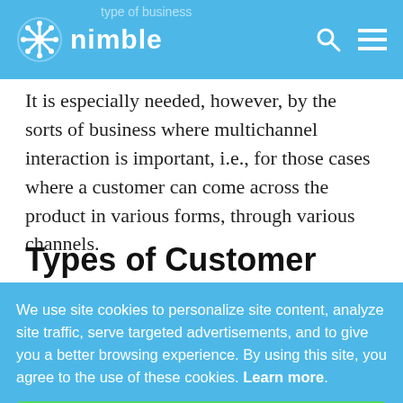nimble
It is especially needed, however, by the sorts of business where multichannel interaction is important, i.e., for those cases where a customer can come across the product in various forms, through various channels.
Types of Customer Journey Maps
We use site cookies to personalize site content, analyze site traffic, serve targeted advertisements, and to give you a better browsing experience. By using this site, you agree to the use of these cookies. Learn more.
Got It